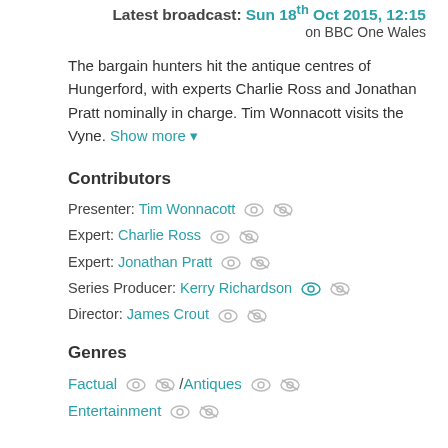Latest broadcast: Sun 18th Oct 2015, 12:15 on BBC One Wales
The bargain hunters hit the antique centres of Hungerford, with experts Charlie Ross and Jonathan Pratt nominally in charge. Tim Wonnacott visits the Vyne. Show more
Contributors
Presenter: Tim Wonnacott
Expert: Charlie Ross
Expert: Jonathan Pratt
Series Producer: Kerry Richardson
Director: James Crout
Genres
Factual / Antiques
Entertainment